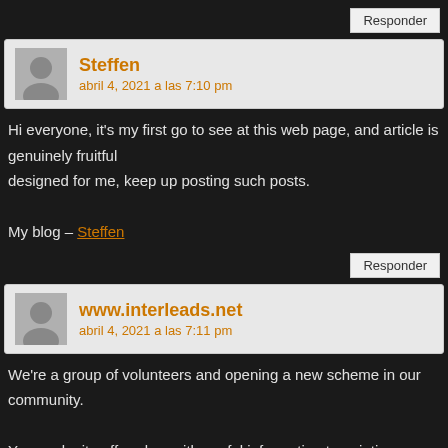Responder
Steffen
abril 4, 2021 a las 7:10 pm
Hi everyone, it's my first go to see at this web page, and article is genuinely fruitful designed for me, keep up posting such posts.

My blog – Steffen
Responder
www.interleads.net
abril 4, 2021 a las 7:11 pm
We're a group of volunteers and opening a new scheme in our community.

Your web site offered us with useful information to paintings on. You have done a formidable activity and our entire community will probably be thankful to you.